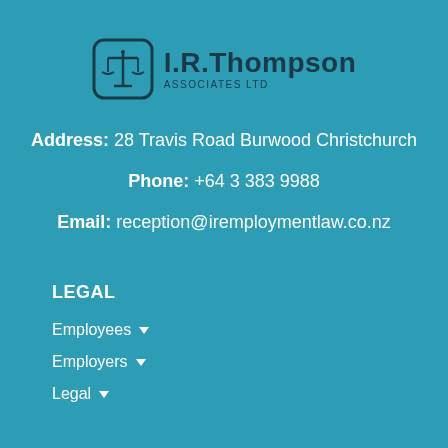[Figure (logo): I.R. Thompson Associates Ltd logo with scales of justice icon in a rounded square and text 'I.R.Thompson Associates Ltd']
Address: 28 Travis Road Burwood Christchurch
Phone: +64 3 383 9988
Email: reception@iremploymentlaw.co.nz
LEGAL
Employees
Employers
Legal